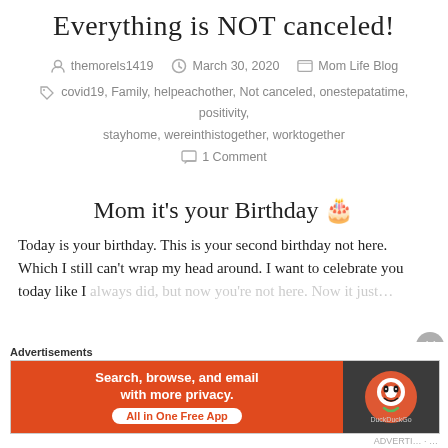Everything is NOT canceled!
themorels1419   March 30, 2020   Mom Life Blog
covid19, Family, helpeachother, Not canceled, onestepatatime, positivity, stayhome, wereinthistogether, worktogether
1 Comment
Mom it's your Birthday 🎂
Today is your birthday. This is your second birthday not here. Which I still can't wrap my head around. I want to celebrate you today like I always did, but now you're not here. Now it just…
[Figure (screenshot): DuckDuckGo advertisement banner: orange left panel with text 'Search, browse, and email with more privacy. All in One Free App', dark right panel with DuckDuckGo logo]
Advertisements